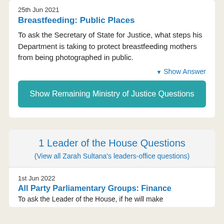25th Jun 2021
Breastfeeding: Public Places
To ask the Secretary of State for Justice, what steps his Department is taking to protect breastfeeding mothers from being photographed in public.
▼ Show Answer
Show Remaining Ministry of Justice Questions
1 Leader of the House Questions
(View all Zarah Sultana's leaders-office questions)
1st Jun 2022
All Party Parliamentary Groups: Finance
To ask the Leader of the House, if he will make